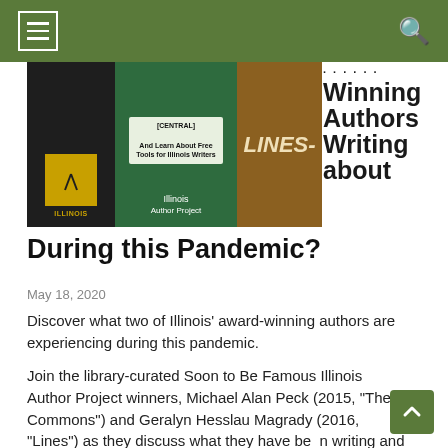Navigation bar with hamburger menu and search icon
[Figure (photo): Collage of three images: left dark panel with award graphic, center green panel with Illinois Author Project logo and text 'And Learn About Free Tools for Illinois Writers', right panel showing book cover 'Lines' on brown background]
Winning Authors Writing about During this Pandemic?
May 18, 2020
Discover what two of Illinois' award-winning authors are experiencing during this pandemic.
Join the library-curated Soon to Be Famous Illinois Author Project winners, Michael Alan Peck (2015, "The Commons") and Geralyn Hesslau Magrady (2016, "Lines") as they discuss what they have been writing and reading. Also, learn about free tools available to support Illinois writers in the free,